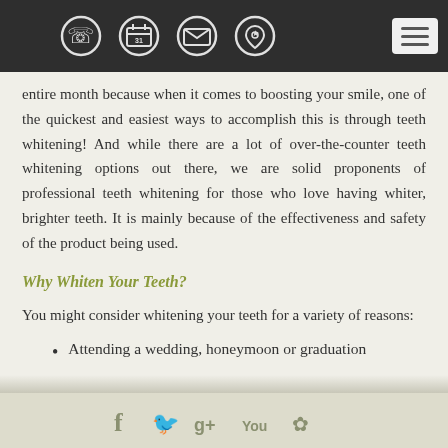[Navigation bar with phone, calendar, mail, location icons and hamburger menu]
entire month because when it comes to boosting your smile, one of the quickest and easiest ways to accomplish this is through teeth whitening! And while there are a lot of over-the-counter teeth whitening options out there, we are solid proponents of professional teeth whitening for those who love having whiter, brighter teeth. It is mainly because of the effectiveness and safety of the product being used.
Why Whiten Your Teeth?
You might consider whitening your teeth for a variety of reasons:
Attending a wedding, honeymoon or graduation
[Social media icons: Facebook, Twitter, Google+, YouTube, Yelp]